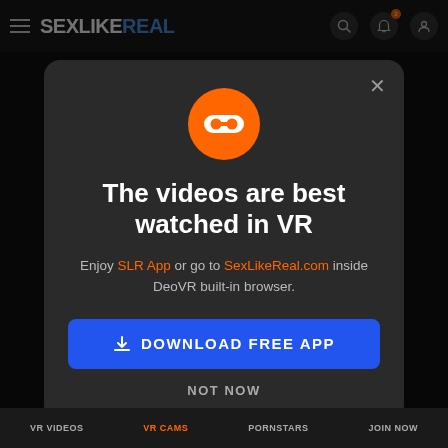SEXLIKEREAL
[Figure (screenshot): Modal dialog popup on SexLikeReal website with VR headset icon, title text, subtitle with links, download button, and not now option]
The videos are best watched in VR
Enjoy SLR App or go to SexLikeReal.com inside DeoVR built-in browser.
DOWNLOAD FREE APP
NOT NOW
VR VIDEOS  VR CAMS  PORNSTARS  JOIN NOW